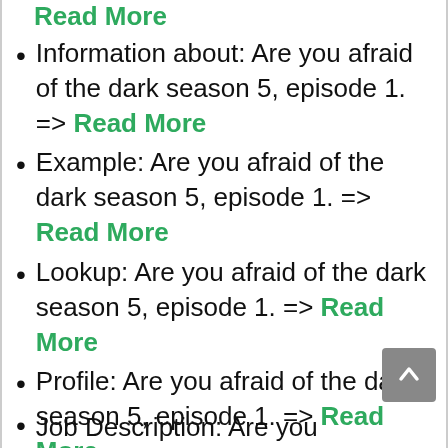Information about: Are you afraid of the dark season 5, episode 1. => Read More
Example: Are you afraid of the dark season 5, episode 1. => Read More
Lookup: Are you afraid of the dark season 5, episode 1. => Read More
Profile: Are you afraid of the dark season 5, episode 1. => Read More
Job Description: Are you